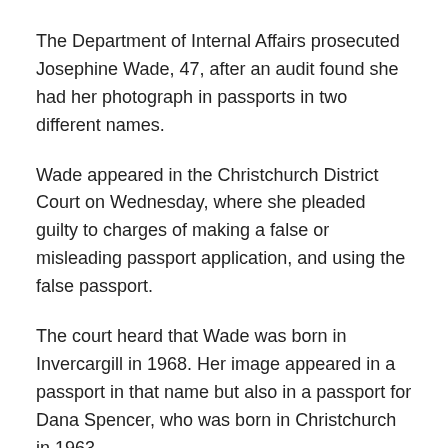The Department of Internal Affairs prosecuted Josephine Wade, 47, after an audit found she had her photograph in passports in two different names.
Wade appeared in the Christchurch District Court on Wednesday, where she pleaded guilty to charges of making a false or misleading passport application, and using the false passport.
The court heard that Wade was born in Invercargill in 1968. Her image appeared in a passport in that name but also in a passport for Dana Spencer, who was born in Christchurch in 1963.
Wade, whose address was given on the charges as “Australia”, admitted witnessing the photograph in the application herself.
When questioned, Wade said she applied for a passport in